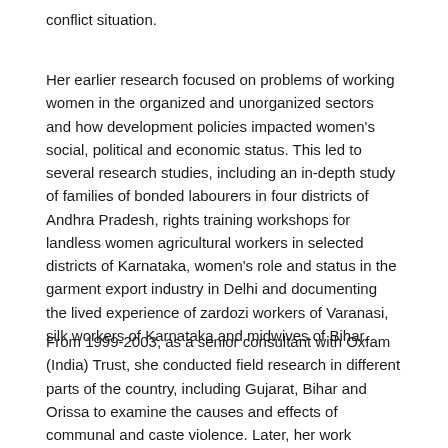conflict situation.
Her earlier research focused on problems of working women in the organized and unorganized sectors and how development policies impacted women's social, political and economic status. This led to several research studies, including an in-depth study of families of bonded labourers in four districts of Andhra Pradesh, rights training workshops for landless women agricultural workers in selected districts of Karnataka, women's role and status in the garment export industry in Delhi and documenting the lived experience of zardozi workers of Varanasi, silk workers of Karnataka and midwives of Bihar.
From 1999-2003, as a senior consultant with Oxfam (India) Trust, she conducted field research in different parts of the country, including Gujarat, Bihar and Orissa to examine the causes and effects of communal and caste violence. Later, her work focused on conflict mitigation in JK, the causes